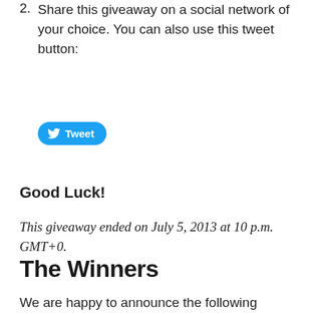2. Share this giveaway on a social network of your choice. You can also use this tweet button:
[Figure (other): A Twitter Tweet button — blue rounded pill button with Twitter bird icon and 'Tweet' text in white]
Good Luck!
This giveaway ended on July 5, 2013 at 10 p.m. GMT+0.
The Winners
We are happy to announce the following